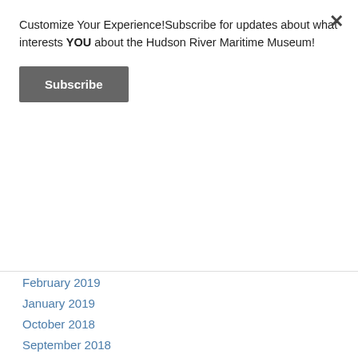Customize Your Experience!Subscribe for updates about what interests YOU about the Hudson River Maritime Museum!
Subscribe
February 2019
January 2019
October 2018
September 2018
August 2018
June 2018
May 2018
April 2018
March 2018
February 2018
January 2018
April 2017
February 2017